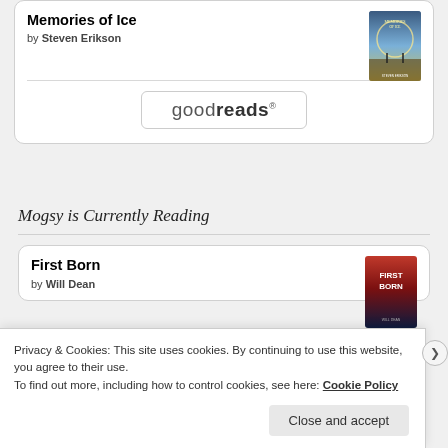Memories of Ice
by Steven Erikson
[Figure (illustration): Goodreads logo inside a rounded rectangle border]
Mogsy is Currently Reading
First Born
by Will Dean
Privacy & Cookies: This site uses cookies. By continuing to use this website, you agree to their use.
To find out more, including how to control cookies, see here: Cookie Policy
Close and accept